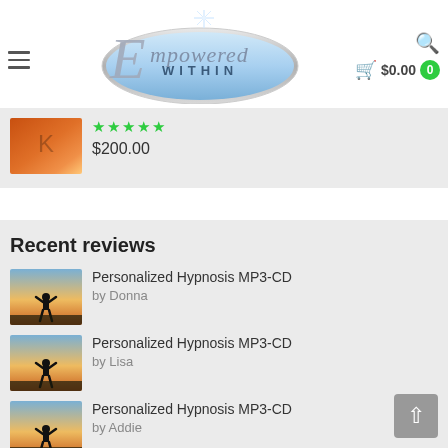[Figure (logo): Empowered Within logo — oval blue/silver gradient with decorative script E and text WITHIN]
$0.00 0
★★★★★
$200.00
Recent reviews
Personalized Hypnosis MP3-CD
by Donna
Personalized Hypnosis MP3-CD
by Lisa
Personalized Hypnosis MP3-CD
by Addie